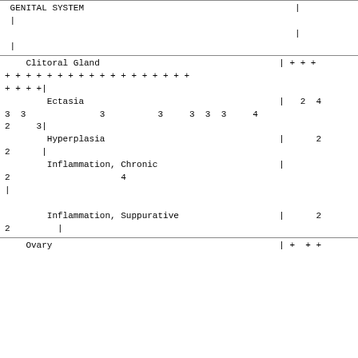GENITAL SYSTEM
| Clitoral Gland | | + + + |
| + + + + + + + + + + + + + + + + + + |
| + + + +| |
| Ectasia | | 2 4 |
| 3 3   3   3   3 3 3   4 |
| 2   3| |
| Hyperplasia | | 2 |
| 2  | |
| Inflammation, Chronic | | |
| 2       4 |
| | |
| Inflammation, Suppurative | | 2 |
| 2    | |
Ovary